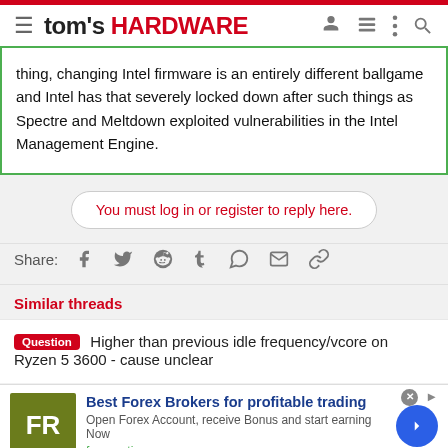tom's HARDWARE
thing, changing Intel firmware is an entirely different ballgame and Intel has that severely locked down after such things as Spectre and Meltdown exploited vulnerabilities in the Intel Management Engine.
You must log in or register to reply here.
Share:
Similar threads
Question - Higher than previous idle frequency/vcore on Ryzen 5 3600 - cause unclear
[Figure (infographic): Advertisement banner for Best Forex Brokers for profitable trading - forex-ratings.com]